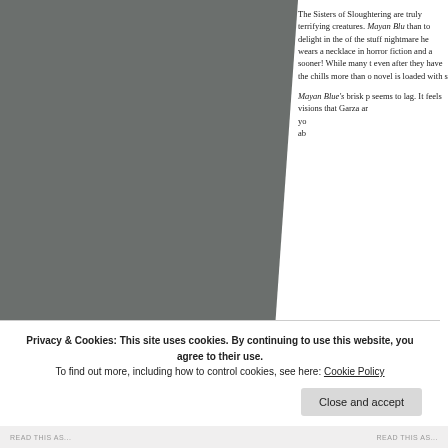[Figure (photo): Dark gray toned image of a shadowy figure or silhouette against a muted background, occupying the left portion of the page.]
The Sisters of Slaughter are truly terrifying creatures. Mayan Blue does nothing more than to delight in the monsters and they are of the stuff nightmares are made of — he wears a necklace in horror fiction and a sooner! While many t even after they have the chills more than o novel is loaded with s
Mayan Blue's brisk p seems to lag. It feels visions that Garza ar
Privacy & Cookies: This site uses cookies. By continuing to use this website, you agree to their use.
To find out more, including how to control cookies, see here: Cookie Policy
Close and accept